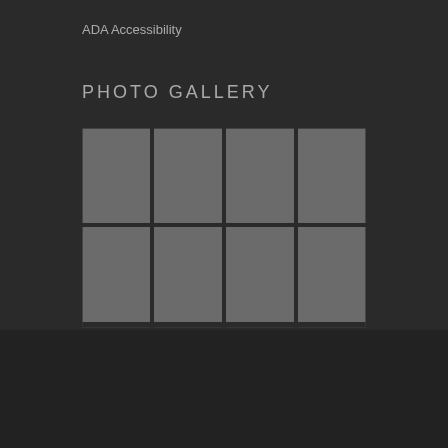ADA Accessibility
PHOTO GALLERY
[Figure (photo): Photo gallery grid showing 8 placeholder image thumbnails in 2 rows of 4 columns, displayed in gray squares on a dark background]
© 2021 SOUNDIEGO,Inc.  All Rights Reserved .
Terms of Use - Privacy Policy - ADA Accessibility -
Sitemap
Website designed and coded by